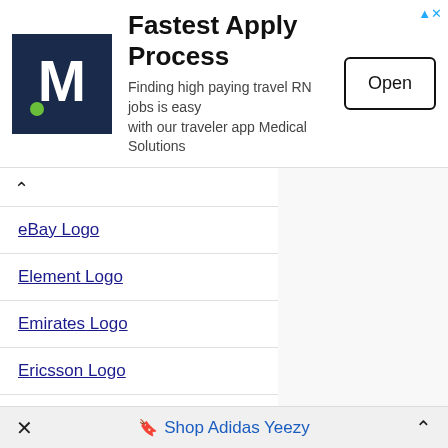[Figure (screenshot): Ad banner for Medical Solutions with M logo, title 'Fastest Apply Process', subtitle text, and Open button]
eBay Logo
Element Logo
Emirates Logo
Ericsson Logo
ESPN Logo
Estee Lauder Logo
Exxon Mobil Logo
F1 Logo
Facebook Logo
× Shop Adidas Yeezy ^